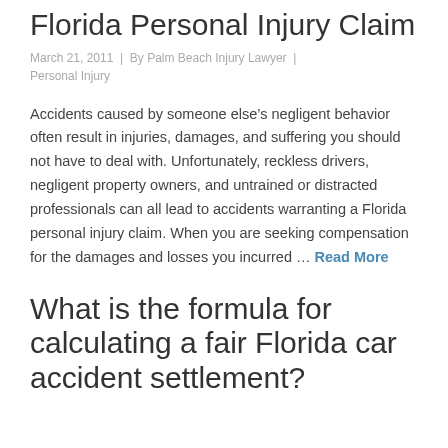Florida Personal Injury Claim
March 21, 2011  |  By Palm Beach Injury Lawyer  |  Personal Injury
Accidents caused by someone else’s negligent behavior often result in injuries, damages, and suffering you should not have to deal with. Unfortunately, reckless drivers, negligent property owners, and untrained or distracted professionals can all lead to accidents warranting a Florida personal injury claim. When you are seeking compensation for the damages and losses you incurred … Read More
What is the formula for calculating a fair Florida car accident settlement?